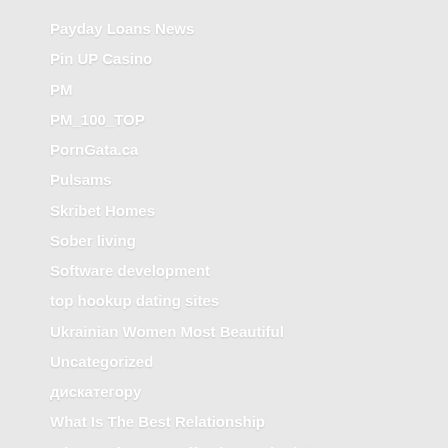Payday Loans News
Pin UP Casino
PM
PM_100_TOP
PornGata.ca
Pulsams
Skribet Homes
Sober living
Software development
top hookup dating sites
Ukrainian Women Most Beautiful
Uncategorized
дискатегорy
What Is The Best Relationship
What Is The Most Effective Method To...